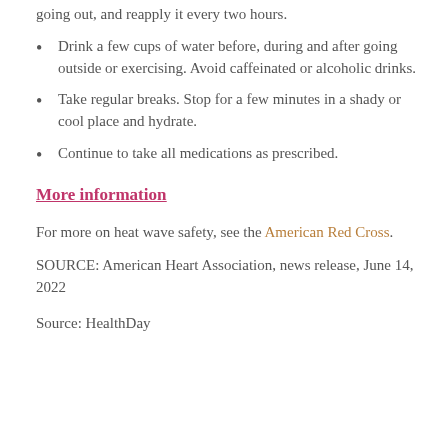going out, and reapply it every two hours.
Drink a few cups of water before, during and after going outside or exercising. Avoid caffeinated or alcoholic drinks.
Take regular breaks. Stop for a few minutes in a shady or cool place and hydrate.
Continue to take all medications as prescribed.
More information
For more on heat wave safety, see the American Red Cross.
SOURCE: American Heart Association, news release, June 14, 2022
Source: HealthDay